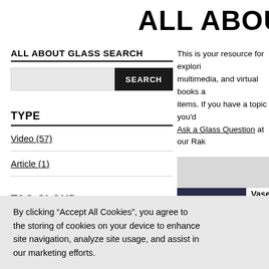ALL ABOUT GLA
ALL ABOUT GLASS SEARCH
This is your resource for exploring multimedia, and virtual books a items. If you have a topic you'd Ask a Glass Question at our Rak
TYPE
Video (57)
Article (1)
TAG CLOUD
[Figure (photo): Close-up photo of hands working with glass blowing, showing a glass object being shaped]
Vasenpokal |
Video
This video sho full-size blow- object in The Between sho
By clicking “Accept All Cookies”, you agree to the storing of cookies on your device to enhance site navigation, analyze site usage, and assist in our marketing efforts.